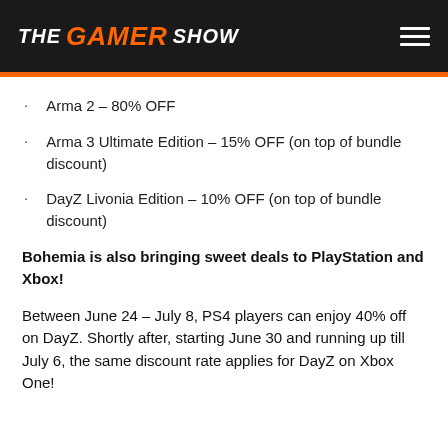THE GAMER SHOW
Arma 2 – 80% OFF
Arma 3 Ultimate Edition – 15% OFF (on top of bundle discount)
DayZ Livonia Edition – 10% OFF (on top of bundle discount)
Bohemia is also bringing sweet deals to PlayStation and Xbox!
Between June 24 – July 8, PS4 players can enjoy 40% off on DayZ. Shortly after, starting June 30 and running up till July 6, the same discount rate applies for DayZ on Xbox One!